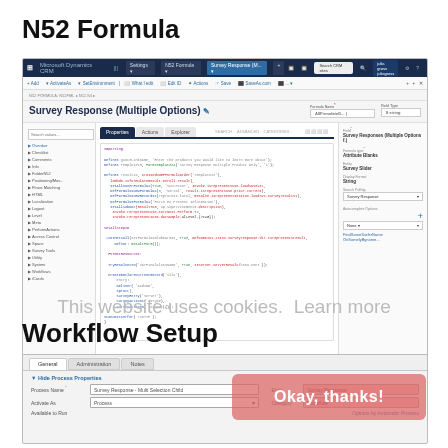N52 Formula
[Figure (screenshot): Microsoft Dynamics CRM screenshot showing Survey Response (Multiple Options) formula editor with code in N52 Formula workflow. The code panel shows JavaScript/formula code with colored syntax highlighting in blue, red, and green. Left panel shows navigation items. Right panel shows form properties.]
This website uses cookies.  Learn more
Workflow Setup
[Figure (screenshot): Microsoft Dynamics CRM workflow setup screen showing General, Administration, Notes tabs. Form fields for Process Name (Survey Response - Multi Selection Child), Activate As: Process, Entity: Survey Response, Category: Workflow, Options by Automatic Process section visible at bottom. An 'Okay, thanks!' cookie consent overlay button is shown in pink/red.]